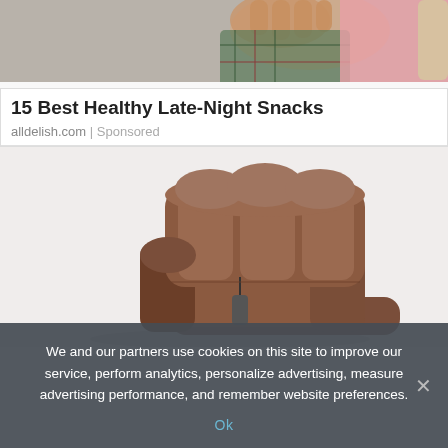[Figure (photo): Top portion of a photo showing a person's hand reaching, wearing a plaid/flannel shirt, with pink and grey tones in background]
15 Best Healthy Late-Night Snacks
alldelish.com | Sponsored
[Figure (photo): Brown leather recliner/lift chair photographed against a light background]
We and our partners use cookies on this site to improve our service, perform analytics, personalize advertising, measure advertising performance, and remember website preferences.